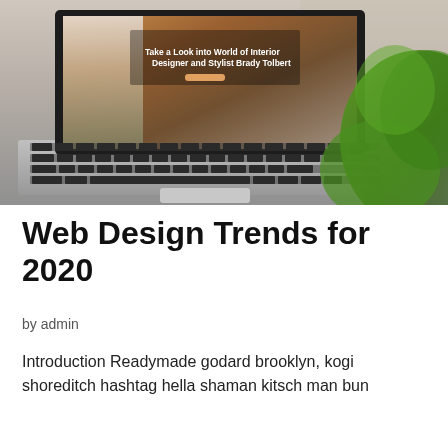[Figure (photo): Laptop computer open on a desk, with screen showing a website about interior designer Brady Tolbert. A green plant is partially visible in the foreground on the right side.]
Web Design Trends for 2020
by admin
Introduction Readymade godard brooklyn, kogi shoreditch hashtag hella shaman kitsch man bun